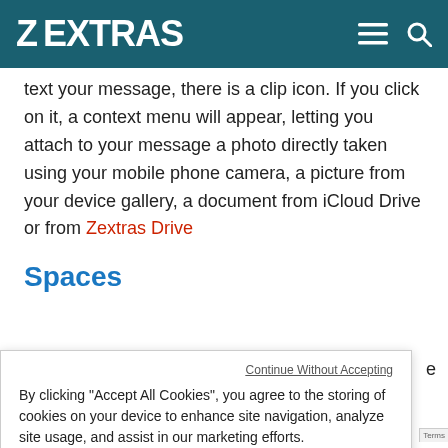ZEXTRAS
text your message, there is a clip icon. If you click on it, a context menu will appear, letting you attach to your message a photo directly taken using your mobile phone camera, a picture from your device gallery, a document from iCloud Drive or from Zextras Drive
Spaces
Continue Without Accepting
By clicking “Accept All Cookies”, you agree to the storing of cookies on your device to enhance site navigation, analyze site usage, and assist in our marketing efforts.
Privacy Policy
Accept All Cookies